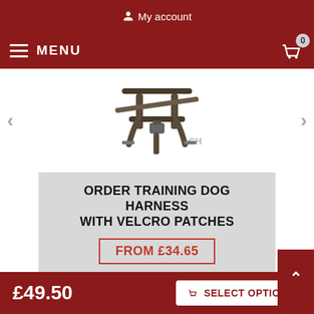My account
MENU
[Figure (photo): Dog training harness product image with black straps and metal buckle, shown on a white background inside a slider with left and right navigation arrows]
ORDER TRAINING DOG HARNESS WITH VELCRO PATCHES
FROM £34.65
SPONSORS
[Figure (other): Sponsors section with a blue-bordered rounded rectangle content area]
£49.50
SELECT OPTIONS